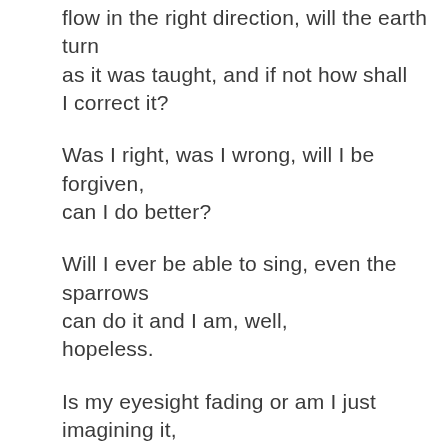flow in the right direction, will the earth turn as it was taught, and if not how shall I correct it?
Was I right, was I wrong, will I be forgiven, can I do better?
Will I ever be able to sing, even the sparrows can do it and I am, well,
hopeless.
Is my eyesight fading or am I just imagining it, am I going to get rheumatism,
lockjaw, dementia?
Finally I saw that worrying had come to nothing. And gave it up. And took my old body and went out into the morning.